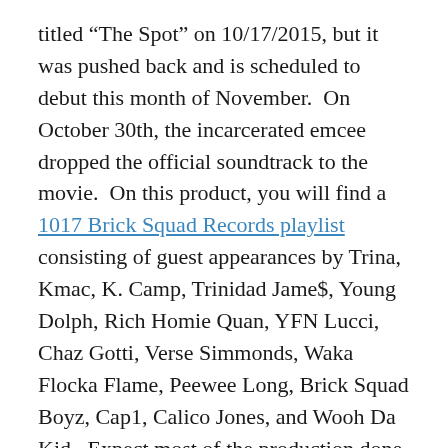titled “The Spot” on 10/17/2015, but it was pushed back and is scheduled to debut this month of November.  On October 30th, the incarcerated emcee dropped the official soundtrack to the movie.  On this product, you will find a 1017 Brick Squad Records playlist consisting of guest appearances by Trina, Kmac, K. Camp, Trinidad Jame$, Young Dolph, Rich Homie Quan, YFN Lucci, Chaz Gotti, Verse Simmonds, Waka Flocka Flame, Peewee Long, Brick Squad Boyz, Cap1, Calico Jones, and Wooh Da Kid.  Expect most of the production done by Honorable C-Note.  Other producers include TM88, Zaytoven, London On Da Track, Southside, and Purps.  If you’re hoping to catch a glimpse of the film, check out